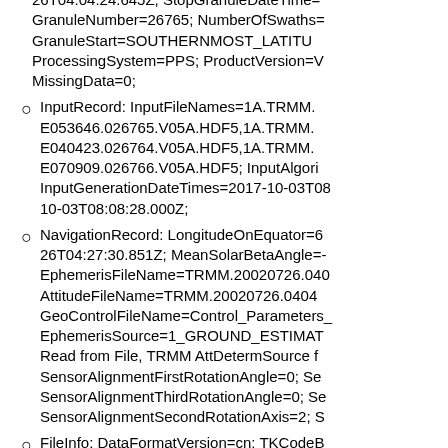26T04:04:24.645Z; StopGranuleDateTime= GranuleNumber=26765; NumberOfSwaths= GranuleStart=SOUTHERNMOST_LATITU ProcessingSystem=PPS; ProductVersion=V MissingData=0;
InputRecord: InputFileNames=1A.TRMM. E053646.026765.V05A.HDF5,1A.TRMM. E040423.026764.V05A.HDF5,1A.TRMM. E070909.026766.V05A.HDF5; InputAlgori InputGenerationDateTimes=2017-10-03T08 10-03T08:08:28.000Z;
NavigationRecord: LongitudeOnEquator=6 26T04:27:30.851Z; MeanSolarBetaAngle=- EphemerisFileName=TRMM.20020726.040 AttitudeFileName=TRMM.20020726.0404 GeoControlFileName=Control_Parameters_ EphemerisSource=1_GROUND_ESTIMAT Read from File, TRMM AttDetermSource f SensorAlignmentFirstRotationAngle=0; Se SensorAlignmentThirdRotationAngle=0; Se SensorAlignmentSecondRotationAxis=2; S
FileInfo: DataFormatVersion=cn; TKCodeB FormatPackage=HDF5-1.8.9; BlueprintFile BlueprintVersion=BV_58; TKIOVersion=3. EndianType=LITTLE_ENDIAN;